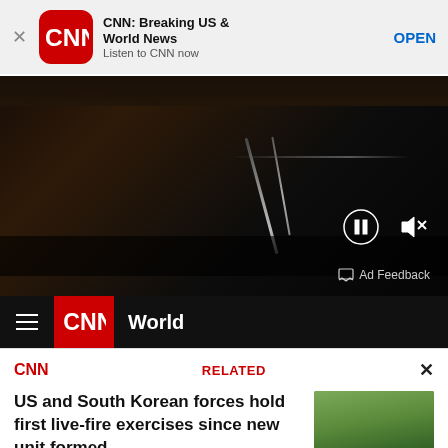[Figure (screenshot): App install banner for CNN Breaking US & World News with close button, CNN logo icon, app title, subtitle 'Listen to CNN now', and OPEN button]
[Figure (screenshot): CNN video player showing dark video frame with pause and mute controls, and Ad Feedback label]
[Figure (screenshot): CNN World navigation bar with hamburger menu, CNN logo, and World label]
[Figure (screenshot): CNN Related content widget with headline 'US and South Korean forces hold first live-fire exercises since new unit formed' and thumbnail image of military vehicles]